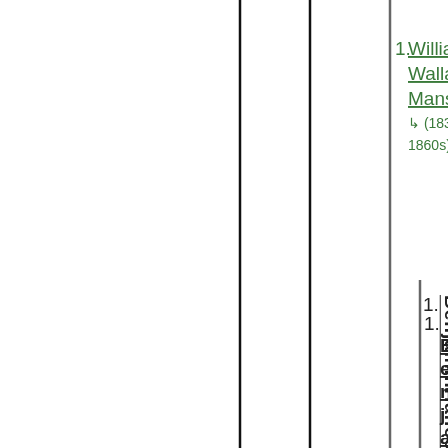[Figure (organizational-chart): Genealogy/family tree chart with vertical connector lines and hierarchical nodes. Level 1 node: William Wallace Mansker (1830s - 1860s). Level 2 node: Benjamin Hall Halleck M... (name continues off page, vertical text).]